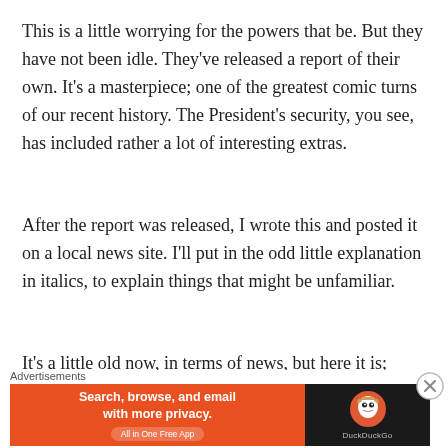This is a little worrying for the powers that be. But they have not been idle. They've released a report of their own. It's a masterpiece; one of the greatest comic turns of our recent history. The President's security, you see, has included rather a lot of interesting extras.
After the report was released, I wrote this and posted it on a local news site. I'll put in the odd little explanation in italics, to explain things that might be unfamiliar.
It's a little old now, in terms of news, but here it is;
“Nkandla. The truth at last.
[Figure (screenshot): DuckDuckGo advertisement banner: orange left section with text 'Search, browse, and email with more privacy.' and 'All in One Free App' pill button; dark right section with DuckDuckGo duck logo and 'DuckDuckGo' text. 'Advertisements' label above banner. Close button (X in circle) to the right.]